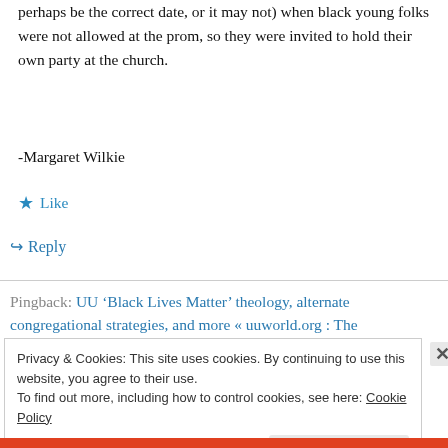perhaps be the correct date, or it may not) when black young folks were not allowed at the prom, so they were invited to hold their own party at the church.
-Margaret Wilkie
★ Like
↳ Reply
Pingback: UU 'Black Lives Matter' theology, alternate congregational strategies, and more « uuworld.org : The
Privacy & Cookies: This site uses cookies. By continuing to use this website, you agree to their use.
To find out more, including how to control cookies, see here: Cookie Policy
Close and accept